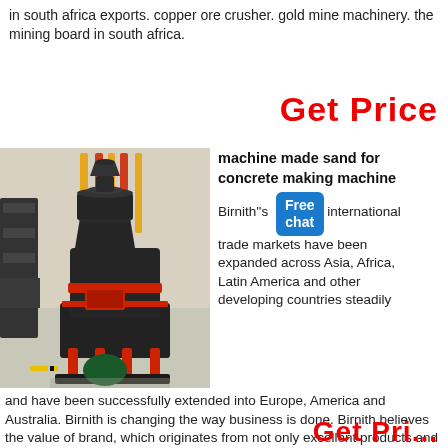in south africa exports. copper ore crusher. gold mine machinery. the mining board in south africa.
Get Price
[Figure (photo): Large industrial grinding mill machine in a factory setting, dark grey metal with red accents, on a concrete floor with red decorative banners in background.]
machine made sand for concrete making machine Birnith''s international trade markets have been expanded across Asia, Africa, Latin America and other developing countries steadily
and have been successfully extended into Europe, America and Australia. Birnith is changing the way business is done. Birnith believes the value of brand, which originates from not only excellent products and
Get Price